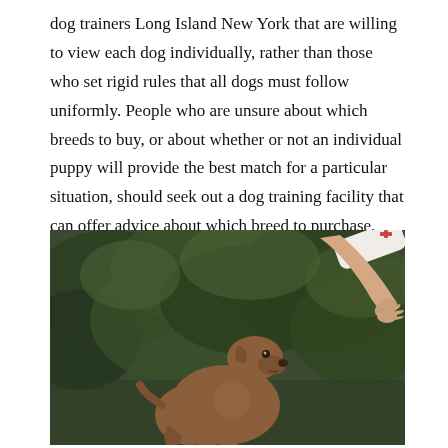dog trainers Long Island New York that are willing to view each dog individually, rather than those who set rigid rules that all dogs must follow uniformly. People who are unsure about which breeds to buy, or about whether or not an individual puppy will provide the best match for a particular situation, should seek out a dog training facility that can offer advice about which breed to purchase.
[Figure (photo): A brown/tan dog sitting and looking up attentively at a person's outstretched arm/hand giving a command, with green foliage in the background.]